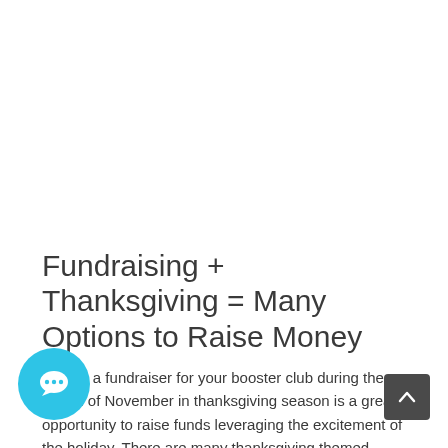Fundraising + Thanksgiving = Many Options to Raise Money
Having a fundraiser for your booster club during the month of November in thanksgiving season is a great opportunity to raise funds leveraging the excitement of the holiday. There are many thanksgiving themed fundraising ideas both normal and covid safe that can help you raise money and be successful at the...